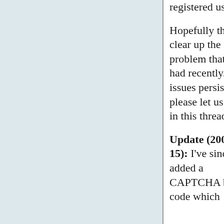registered users.
Hopefully this will clear up the spam problem that we've had recently.  If issues persist, please let us know in this thread.
Update (2007-10-15): I've since added a CAPTCHA bypass code which